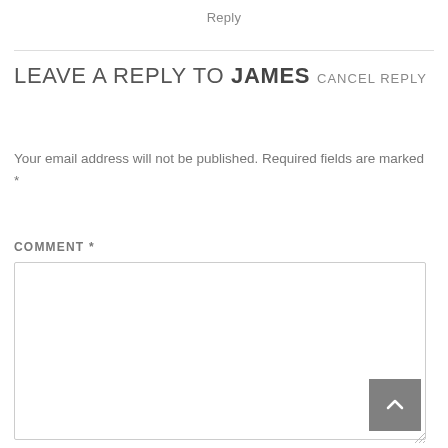Reply
LEAVE A REPLY TO JAMES CANCEL REPLY
Your email address will not be published. Required fields are marked *
COMMENT *
[Figure (other): Comment text input box, empty, with a scroll-to-top button (gray square with up-chevron) in the lower right corner and a resize handle at the bottom right.]